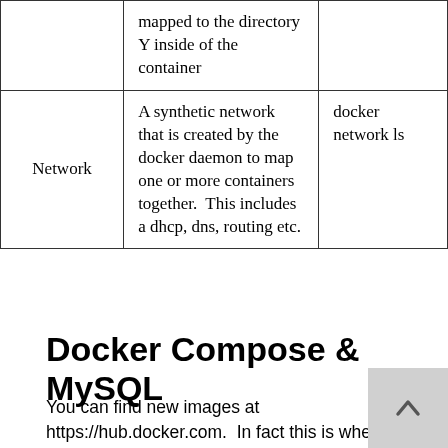|  | Description | Command |
| --- | --- | --- |
|  | mapped to the directory Y inside of the container |  |
| Network | A synthetic network that is created by the docker daemon to map one or more containers together.  This includes a dhcp, dns, routing etc. | docker network ls |
Docker Compose & MySQL
You can find new images at https://hub.docker.com.  In fact this is where I_ everything that I need for mysql